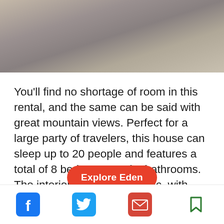[Figure (photo): Blurred outdoor photo showing mountain/sky background in muted tan and gray tones]
You'll find no shortage of room in this rental, and the same can be said with great mountain views. Perfect for a large party of travelers, this house can sleep up to 20 people and features a total of 8 bedrooms and 7 bathrooms. The interior is modernly rustic, with beautiful wood and [Explore Eden button overlapping] s that are sure to delight you and your guests. Plan on grilling some delici[o...] the while[...]
[Figure (infographic): Explore Eden red rounded button overlay in center of page]
[Figure (infographic): Social sharing bar at bottom with Facebook (blue), Twitter (blue), Email (red envelope), and Bookmark (green) icons]